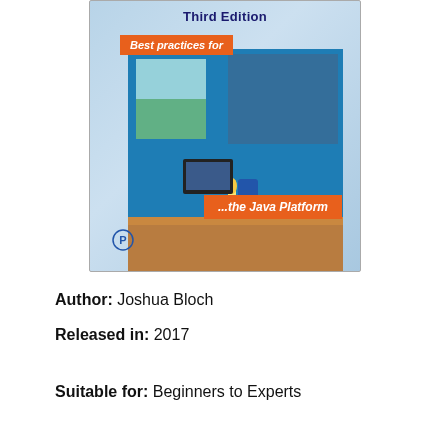[Figure (photo): Book cover of Effective Java Third Edition by Joshua Bloch, showing an illustrated desk/workshop scene with orange banners reading 'Best practices for' and '...the Java Platform'. Published by Pearson.]
Author: Joshua Bloch
Released in: 2017
Suitable for: Beginners to Experts